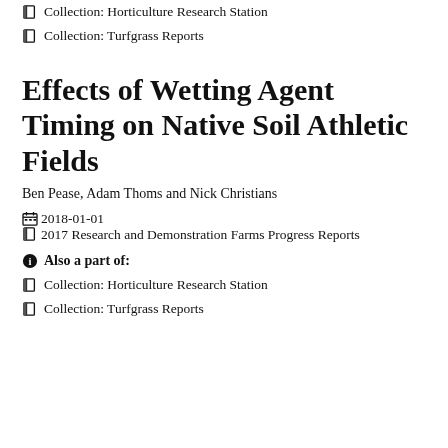Collection: Horticulture Research Station
Collection: Turfgrass Reports
Effects of Wetting Agent Timing on Native Soil Athletic Fields
Ben Pease, Adam Thoms and Nick Christians
2018-01-01   2017 Research and Demonstration Farms Progress Reports
Also a part of:
Collection: Horticulture Research Station
Collection: Turfgrass Reports